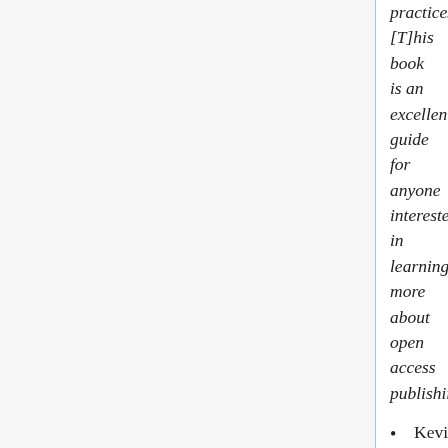practices....[T]his book is an excellent guide for anyone interested in learning more about open access publishing."
Kevin Michael Clair, Open Access by Peter Suber, Journal of Academic Librarianship, vol. 39, no. 1, January 2013. "In his latest book, Suber lays out in succinct and engaging fashion the primary reasons why the major players in the scholarly communications space should consider open access in their publishing, peer-reviewing, and library acquisitions work....For libraries just making inroads into the open access world, Open Access is an essential introduction to the topic. For academic librarians who have been working in the scholarly